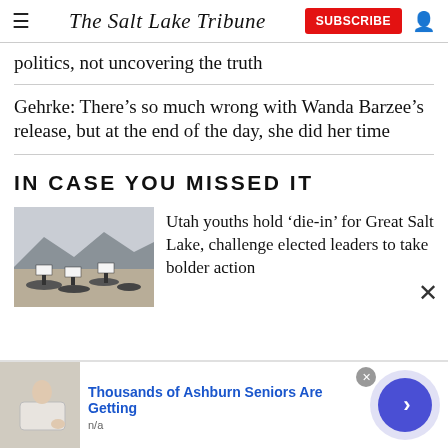The Salt Lake Tribune
politics, not uncovering the truth
Gehrke: There’s so much wrong with Wanda Barzee’s release, but at the end of the day, she did her time
IN CASE YOU MISSED IT
[Figure (photo): Photo of people lying on dry lake bed of Great Salt Lake with tombstone-like signs]
Utah youths hold ‘die-in’ for Great Salt Lake, challenge elected leaders to take bolder action
[Figure (photo): Advertisement photo showing person in walk-in bathtub]
Thousands of Ashburn Seniors Are Getting
n/a